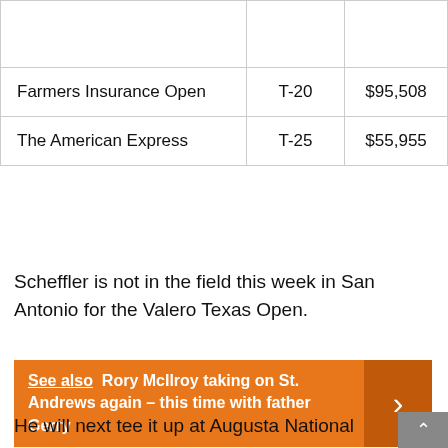|  |  |  |
| --- | --- | --- |
|  |  |  |
| Farmers Insurance Open | T-20 | $95,508 |
| The American Express | T-25 | $55,955 |
Scheffler is not in the field this week in San Antonio for the Valero Texas Open.
See also  Rory McIlroy taking on St. Andrews again – this time with father Gerry
He will next tee it up at Augusta National